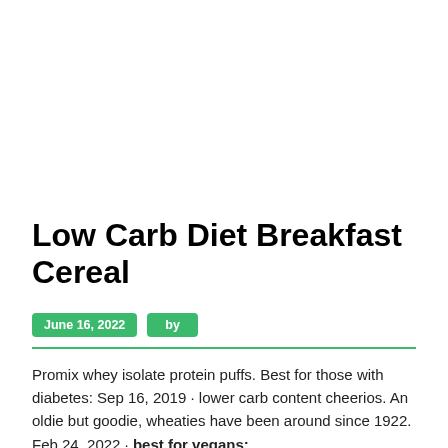Low Carb Diet Breakfast Cereal
June 16, 2022   by
Promix whey isolate protein puffs. Best for those with diabetes: Sep 16, 2019 · lower carb content cheerios. An oldie but goodie, wheaties have been around since 1922. Feb 24, 2022 · best for vegans:
16694496 from
Rice cereals grape nuts cream of wheat museli cornflakes Puffed